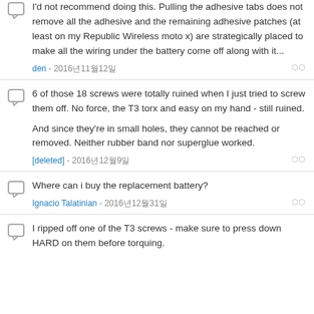I'd not recommend doing this. Pulling the adhesive tabs does not remove all the adhesive and the remaining adhesive patches (at least on my Republic Wireless moto x) are strategically placed to make all the wiring under the battery come off along with it...
den - 2016년11월12일
6 of those 18 screws were totally ruined when I just tried to screw them off. No force, the T3 torx and easy on my hand - still ruined.

And since they're in small holes, they cannot be reached or removed. Neither rubber band nor superglue worked.
[deleted] - 2016년12월9일
Where can i buy the replacement battery?
Ignacio Talatinian - 2016년12월31일
I ripped off one of the T3 screws - make sure to press down HARD on them before torquing.